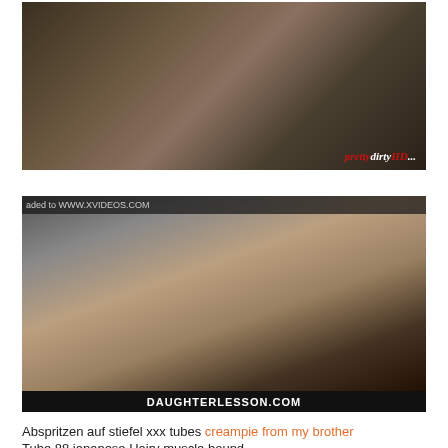[Figure (photo): Screenshot from adult video website showing two panels: left panel depicts two people in a bedroom scene, right panel shows a woman standing in a doorway. Watermark reads 'prettydirtyHD...' in bottom right corner.]
[Figure (photo): Screenshot from adult video website showing a close-up scene. Top bar reads 'aded to WWW.XVIDEOS.COM'. Bottom black bar reads 'DAUGHTERLESSON.COM'.]
Abspritzen auf stiefel xxx tubes creampie from my brother
Tube 88 japanese Hairy muscle bound